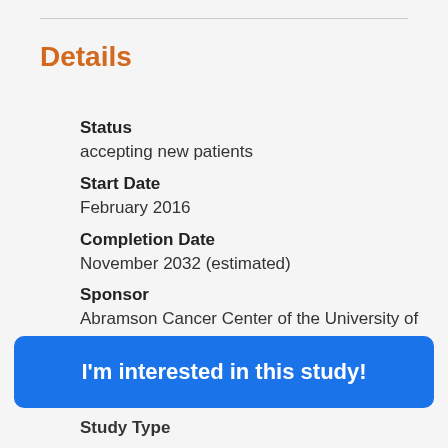Details
Status
accepting new patients
Start Date
February 2016
Completion Date
November 2032 (estimated)
Sponsor
Abramson Cancer Center of the University of Pennsylvania
Links
Study website
I'm interested in this study!
Study Type